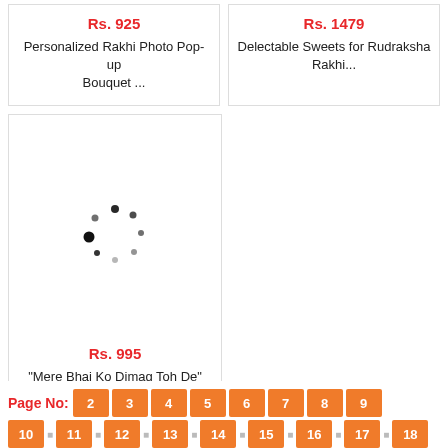[Figure (other): Product card showing price Rs. 925 and title Personalized Rakhi Photo Pop-up Bouquet ...]
[Figure (other): Product card showing price Rs. 1479 and title Delectable Sweets for Rudraksha Rakhi...]
[Figure (other): Product card with loading spinner, price Rs. 995 and title "Mere Bhai Ko Dimag Toh De" Coffee Mug w...]
Page No: 2 3 4 5 6 7 8 9 10 11 12 13 14 15 16 17 18